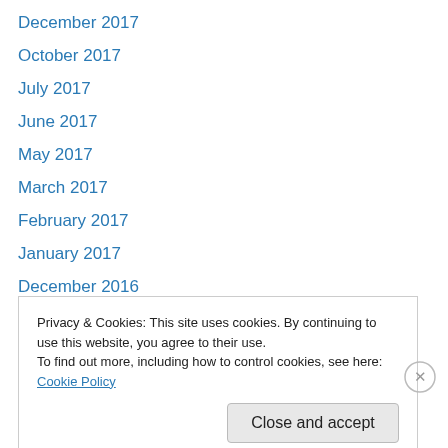December 2017
October 2017
July 2017
June 2017
May 2017
March 2017
February 2017
January 2017
December 2016
October 2016
August 2016
July 2016
June 2016
Privacy & Cookies: This site uses cookies. By continuing to use this website, you agree to their use.
To find out more, including how to control cookies, see here: Cookie Policy
Close and accept